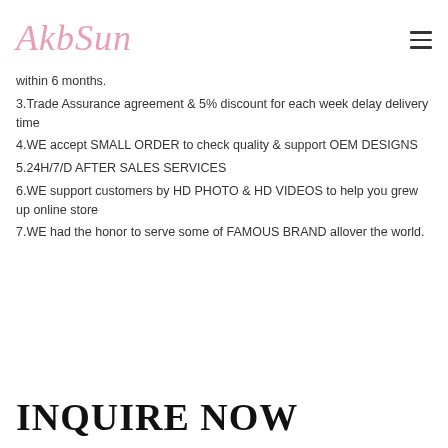AkbSun
within 6 months.
3.Trade Assurance agreement & 5% discount for each week delay delivery time
4.WE accept SMALL ORDER to check quality & support OEM DESIGNS
5.24H/7/D AFTER SALES SERVICES
6.WE support customers by HD PHOTO & HD VIDEOS to help you grew up online store
7.WE had the honor to serve some of FAMOUS BRAND allover the world.
INQUIRE NOW